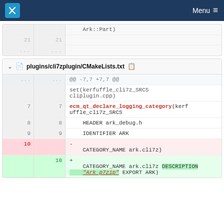KDE Menu
[Figure (screenshot): KDE GitLab diff view showing plugins/cli7zplugin/CMakeLists.txt with code diff lines including ecm_qt_declare_logging_category and CATEGORY_NAME changes]
plugins/cli7zplugin/CMakeLists.txt
@@ -7,7 +7,7 @@
set(kerfuffle_cli7z_SRCS cliplugin.cpp)
7  7  ecm_qt_declare_logging_category(kerfuffle_cli7z_SRCS
8  8  HEADER ark_debug.h
9  9  IDENTIFIER ARK
10    - CATEGORY_NAME ark.cli7z)
   10 + CATEGORY_NAME ark.cli7z DESCRIPTION "Ark p7zip" EXPORT ARK)